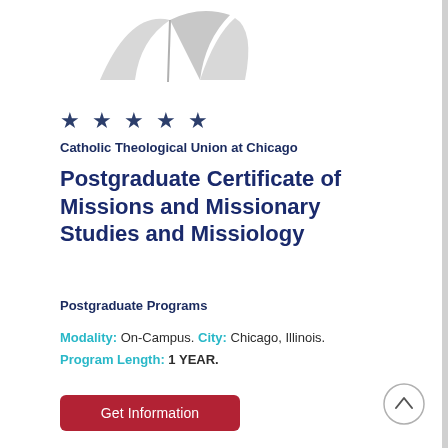[Figure (logo): Open book / pages logo graphic in light gray]
★ ★ ★ ★ ★
Catholic Theological Union at Chicago
Postgraduate Certificate of Missions and Missionary Studies and Missiology
Postgraduate Programs
Modality: On-Campus. City: Chicago, Illinois.
Program Length: 1 YEAR.
Get Information